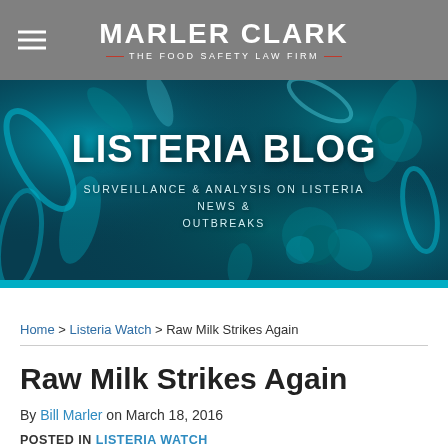MARLER CLARK THE FOOD SAFETY LAW FIRM
[Figure (illustration): Listeria Blog banner with microscopic bacteria imagery in teal/blue tones. Large text reads LISTERIA BLOG with subtitle SURVEILLANCE & ANALYSIS ON LISTERIA NEWS & OUTBREAKS]
Home > Listeria Watch > Raw Milk Strikes Again
Raw Milk Strikes Again
By Bill Marler on March 18, 2016
POSTED IN LISTERIA WATCH